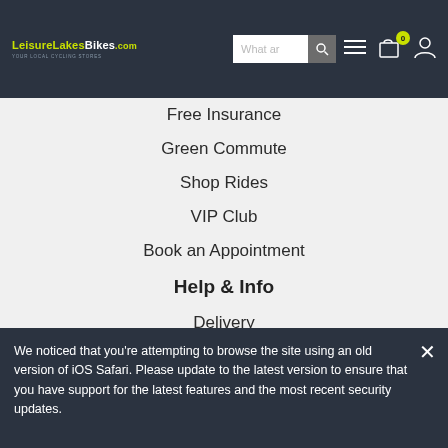LeisureLakesBikes.com — navigation header with search, menu, cart (0), account
Free Insurance
Green Commute
Shop Rides
VIP Club
Book an Appointment
Help & Info
Delivery
Click & Collect
Returns
Contact Us
My Account
Our History
Price Promise
We noticed that you're attempting to browse the site using an old version of iOS Safari. Please update to the latest version to ensure that you have support for the latest features and the most recent security updates.